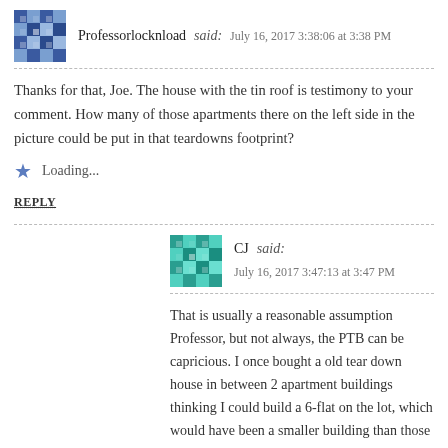Professorlocknload said: July 16, 2017 3:38:06 at 3:38 PM
Thanks for that, Joe. The house with the tin roof is testimony to your comment. How many of those apartments there on the left side in the picture could be put in that teardowns footprint?
Loading...
REPLY
CJ said: July 16, 2017 3:47:13 at 3:47 PM
That is usually a reasonable assumption Professor, but not always, the PTB can be capricious. I once bought a old tear down house in between 2 apartment buildings thinking I could build a 6-flat on the lot, which would have been a smaller building than those on either side, and the same size lot. To my surprise and amazement, the City of Evanston IL refused to allow it.